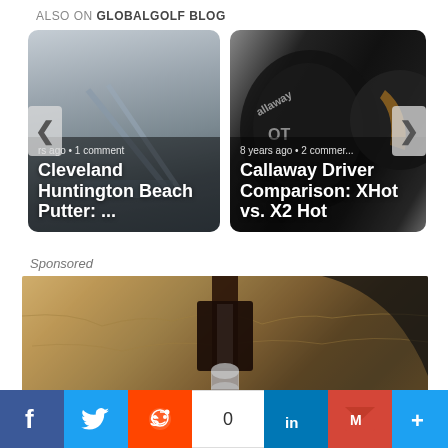ALSO ON GLOBALGOLF BLOG
[Figure (photo): Blog card 1: Cleveland Huntington Beach Putter article thumbnail showing golf putters on sandy/foggy scene. Text: 'rs ago • 1 comment' and 'Cleveland Huntington Beach Putter: ...']
[Figure (photo): Blog card 2: Callaway Driver Comparison article thumbnail showing Callaway XHot/X2Hot driver head closeup. Text: '8 years ago • 2 comments' and 'Callaway Driver Comparison: XHot vs. X2 Hot']
Sponsored
[Figure (photo): Sponsored image showing a dark lantern/light fixture against a sandy/adobe wall background]
[Figure (infographic): Social sharing bar with Facebook, Twitter, Reddit, share count (0), LinkedIn, Gmail, and more (+) buttons]